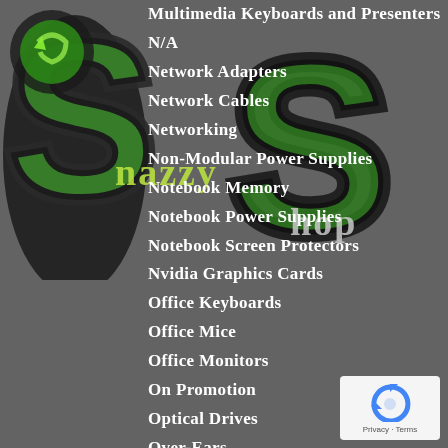[Figure (logo): Snazzy Shop logo with large green and black stylized letters S and S with text 'Snazzy Shop' overlaid on grey background]
Multimedia Keyboards and Presenters
N/A
Network Adapters
Network Cables
Networking
Non-Modular Power Supplies
Notebook Memory
Notebook Power Supplies
Notebook Screen Protectors
Nvidia Graphics Cards
Office Keyboards
Office Mice
Office Monitors
On Promotion
Optical Drives
Over-Ears
Personal Care
Power Banks
Power Cables
Power Stations
[Figure (logo): reCAPTCHA badge with circular arrow logo and Privacy - Terms text]